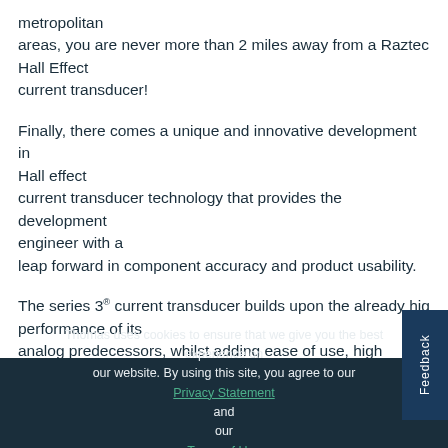metropolitan areas, you are never more than 2 miles away from a Raztec Hall Effect current transducer!
Finally, there comes a unique and innovative development in Hall effect current transducer technology that provides the development engineer with a leap forward in component accuracy and product usability.
The series 3® current transducer builds upon the already high performance of its analog predecessors, whilst adding ease of use, high tolerance to electrically 'noisy' environments...
Thomas uses cookies to ensure that we give you the best experience on our website. By using this site, you agree to our Privacy Statement and our Terms of Use.